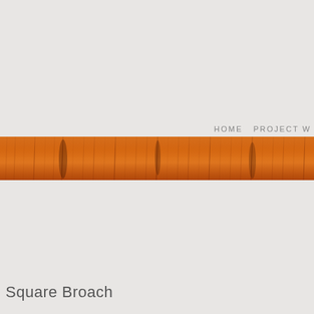HOME  PROJECT W
[Figure (photo): A horizontal strip of wood grain texture showing warm orange and brown tones with vertical grain lines, spanning the full width of the page]
Square Broach